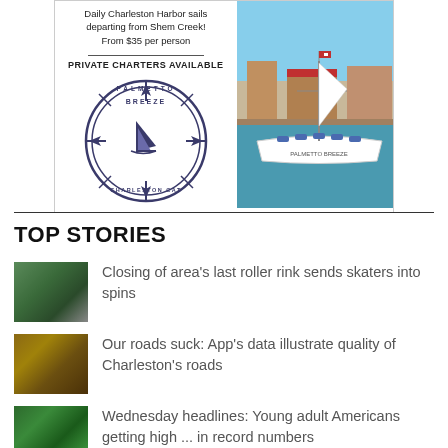[Figure (photo): Advertisement for Palmetto Breeze Charleston Cat boat tours. Left side shows text 'Daily Charleston Harbor sails departing from Shem Creek! From $35 per person', 'PRIVATE CHARTERS AVAILABLE', and a circular logo for Palmetto Breeze Charleston Cat. Right side shows a photo of a catamaran boat docked at a marina.]
TOP STORIES
Closing of area's last roller rink sends skaters into spins
Our roads suck: App's data illustrate quality of Charleston's roads
Wednesday headlines: Young adult Americans getting high ... in record numbers
The music never stops: Charleston Pour House